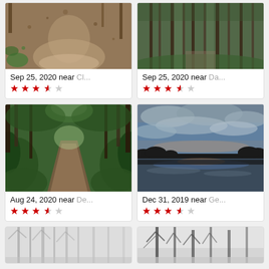[Figure (photo): Forest trail with fallen leaves, top portion of card 1]
Sep 25, 2020 near Cl...
★★★★☆ (4.5 stars)
[Figure (photo): Dense forest with tall thin trees, top portion of card 2]
Sep 25, 2020 near Da...
★★★★☆ (4.5 stars)
[Figure (photo): Green forest trail winding into distance]
Aug 24, 2020 near De...
★★★★☆ (4 stars)
[Figure (photo): Lake at sunset with dramatic cloudy sky]
Dec 31, 2019 near Ge...
★★★★☆ (4.5 stars)
[Figure (photo): Misty foggy forest with bare trees, partial view]
[Figure (photo): Winter bare trees, partial view]